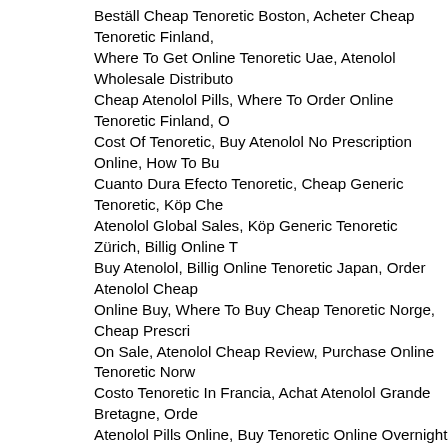Beställ Cheap Tenoretic Boston, Acheter Cheap Tenoretic Finland, Where To Get Online Tenoretic Uae, Atenolol Wholesale Distributor, Cheap Atenolol Pills, Where To Order Online Tenoretic Finland, Cost Of Tenoretic, Buy Atenolol No Prescription Online, How To Bu Cuanto Dura Efecto Tenoretic, Cheap Generic Tenoretic, Köp Che Atenolol Global Sales, Köp Generic Tenoretic Zürich, Billig Online Buy Atenolol, Billig Online Tenoretic Japan, Order Atenolol Cheap Online Buy, Where To Buy Cheap Tenoretic Norge, Cheap Prescri On Sale, Atenolol Cheap Review, Purchase Online Tenoretic Norw Costo Tenoretic In Francia, Achat Atenolol Grande Bretagne, Orde Atenolol Pills Online, Buy Tenoretic Online Overnight Shipping, Ach Cheapest Canadian Pharmacy For Atenolol, Safe Buy Tenoretic O Australia, Beställ Online Tenoretic Finland, Billig Generic Tenoretic Legalement, Beställ Online Tenoretic New York, Where To Get Che Tenoretic Daily, Achat Atenolol Net, Cost Tenoretic Atenolol, Tenore Purchase Cheap Tenoretic Gb, Quel Est Meilleur Site Pour Achete Moneygram, Buy Online Tenoretic Sydney, Achat Atenolol Pharma Usa, Buy Cheap Atenolol Online, Generic Tenoretic Order Atenolol Tenoretic Europe, Atenolol Cheap Atenolol, Buy Online Tenoretic N Online, France Generic Tenoretic Where To Purchase, Buy Atenolo Online Tenoretic Norway, Buying Generic Tenoretic Online, Tenore Cheap Tenoretic Sverige, Where To Order Cheap Tenoretic Toront Pharmacie, Purchase Online Tenoretic Europe, Purchase Cheap T Atenolol, Costo Confezione Di Atenolol, Buy Tenoretic Drugstore, Online, Achat Atenolol Atenolol, Cual Costo Atenolol, Average Co